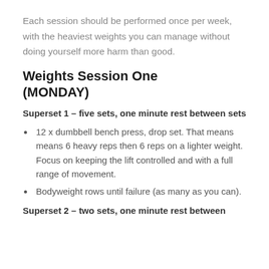Each session should be performed once per week, with the heaviest weights you can manage without doing yourself more harm than good.
Weights Session One (MONDAY)
Superset 1 – five sets, one minute rest between sets
12 x dumbbell bench press, drop set. That means means 6 heavy reps then 6 reps on a lighter weight. Focus on keeping the lift controlled and with a full range of movement.
Bodyweight rows until failure (as many as you can).
Superset 2 – two sets, one minute rest between